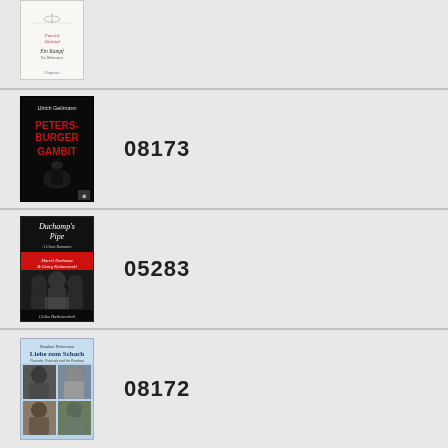[Figure (illustration): Book cover: Patrick Süskind - Ein Kampf (white cover with small illustration)]
[Figure (illustration): Book cover: Ulrich Geilmann - Petersburger Gambit (black cover with red text and chess piece)]
08173
[Figure (illustration): Book cover: Duchamp's Pipe - A Chess Romance (Marcel Duchamp & Georges Koltanowski) by Celia Rabinovitch]
05283
[Figure (illustration): Book cover: Liebe zum Schach (light blue cover with photos of chess players)]
08172